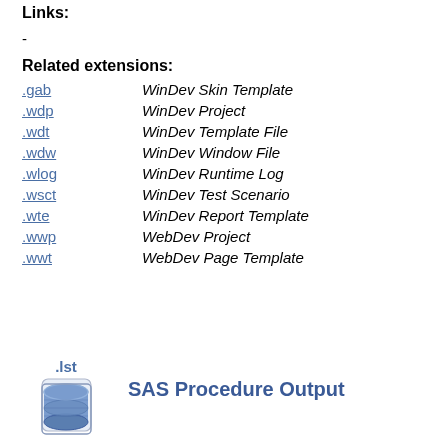Links:
-
Related extensions:
.gab   WinDev Skin Template
.wdp   WinDev Project
.wdt   WinDev Template File
.wdw   WinDev Window File
.wlog   WinDev Runtime Log
.wsct   WinDev Test Scenario
.wte   WinDev Report Template
.wwp   WebDev Project
.wwt   WebDev Page Template
[Figure (illustration): Icon for .lst SAS Procedure Output file type, showing a database/cylinder icon with .lst label above]
SAS Procedure Output